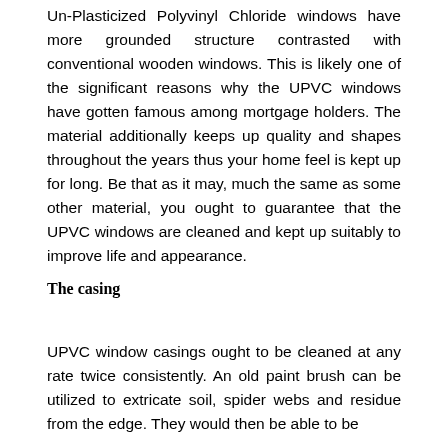Un-Plasticized Polyvinyl Chloride windows have more grounded structure contrasted with conventional wooden windows. This is likely one of the significant reasons why the UPVC windows have gotten famous among mortgage holders. The material additionally keeps up quality and shapes throughout the years thus your home feel is kept up for long. Be that as it may, much the same as some other material, you ought to guarantee that the UPVC windows are cleaned and kept up suitably to improve life and appearance.
The casing
UPVC window casings ought to be cleaned at any rate twice consistently. An old paint brush can be utilized to extricate soil, spider webs and residue from the edge. They would then be able to be cleaned utilising soap and water before rinsing.